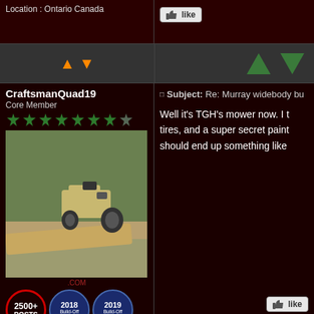Location : Ontario Canada
[Figure (screenshot): Like button with thumbs up icon]
[Figure (screenshot): Orange up and down navigation arrows on left; green up and down triangles on right]
CraftsmanQuad19
Core Member
[Figure (photo): A riding lawn mower/tractor on a dirt embankment near water and vegetation]
.COM
[Figure (infographic): Three badges: 2500+ POSTS circle badge, 2018 Build-Off Entrant badge, 2019 Build-Off Finalist badge]
Age : 22
Join date : 2016-04-12
Posts : 2602
Location : Indiana
Subject: Re: Murray widebody bu
Well it's TGH's mower now. I t tires, and a super secret paint should end up something like
[Figure (screenshot): Like button with thumbs up icon at bottom right]